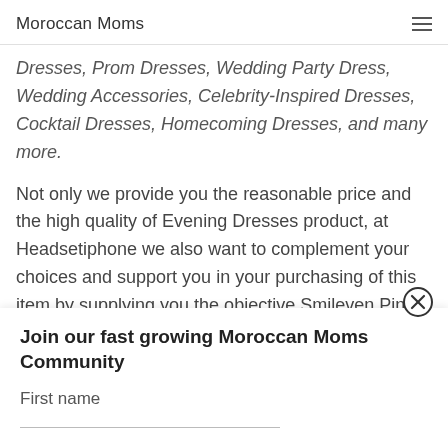Moroccan Moms
Dresses, Prom Dresses, Wedding Party Dress, Wedding Accessories, Celebrity-Inspired Dresses, Cocktail Dresses, Homecoming Dresses, and many more.
Not only we provide you the reasonable price and the high quality of Evening Dresses product, at Headsetiphone we also want to complement your choices and support you in your purchasing of this item by supplying you the objective Smileven Pink Moroccan Kaftan Formal Evening Dresses
Join our fast growing Moroccan Moms Community
First name